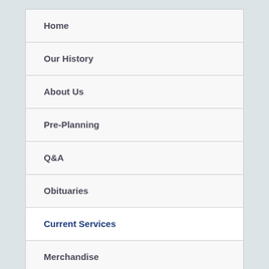Home
Our History
About Us
Pre-Planning
Q&A
Obituaries
Current Services
Merchandise
Directions